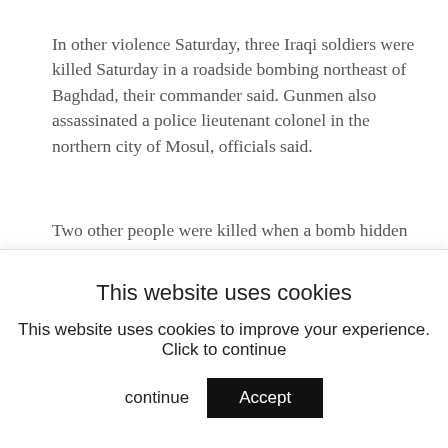In other violence Saturday, three Iraqi soldiers were killed Saturday in a roadside bombing northeast of Baghdad, their commander said. Gunmen also assassinated a police lieutenant colonel in the northern city of Mosul, officials said.
Two other people were killed when a bomb hidden in a vegetable cart exploded Saturday in Mahmoudiya, 12 miles south of Baghdad.
The blast occurred a few minutes after mourners passed by with the body of an aide to Shiite Grand Ayatollah Ali al-Sistani who was slain Friday outside a Baghdad mosque. The mourners were carrying the
This website uses cookies
This website uses cookies to improve your experience. Click to continue
Accept